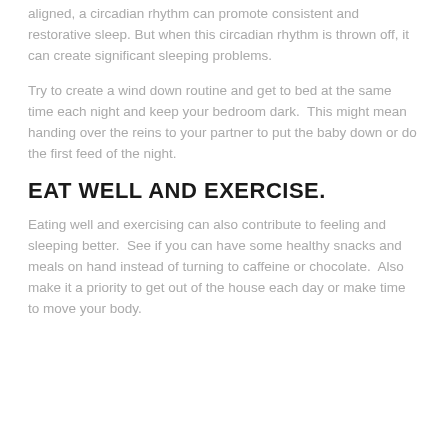aligned, a circadian rhythm can promote consistent and restorative sleep. But when this circadian rhythm is thrown off, it can create significant sleeping problems.
Try to create a wind down routine and get to bed at the same time each night and keep your bedroom dark.  This might mean handing over the reins to your partner to put the baby down or do the first feed of the night.
EAT WELL AND EXERCISE.
Eating well and exercising can also contribute to feeling and sleeping better.  See if you can have some healthy snacks and meals on hand instead of turning to caffeine or chocolate.  Also make it a priority to get out of the house each day or make time to move your body.